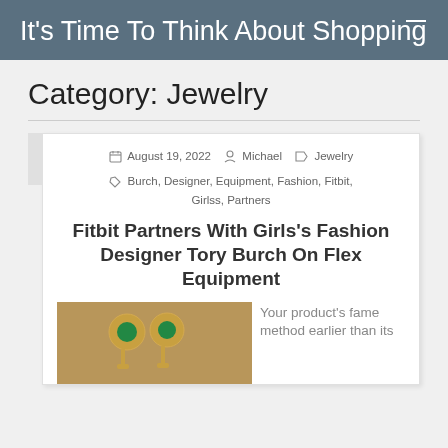It's Time To Think About Shopping
Category: Jewelry
August 19, 2022   Michael   Jewelry   Burch, Designer, Equipment, Fashion, Fitbit, Girlss, Partners
Fitbit Partners With Girls's Fashion Designer Tory Burch On Flex Equipment
[Figure (photo): Photo of gold jewelry earrings with green gemstones]
Your product's fame method earlier than its